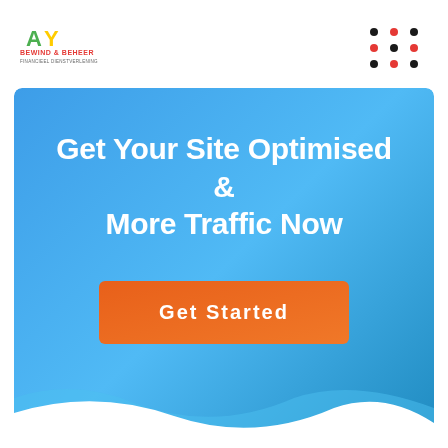[Figure (logo): AY Bewind & Beheer company logo with green and yellow letters and red tagline text]
[Figure (other): 3x3 dot grid pattern with black and red dots, decorative element in top right corner]
Get Your Site Optimised & More Traffic Now
[Figure (other): Orange 'Get Started' call-to-action button on blue gradient banner background]